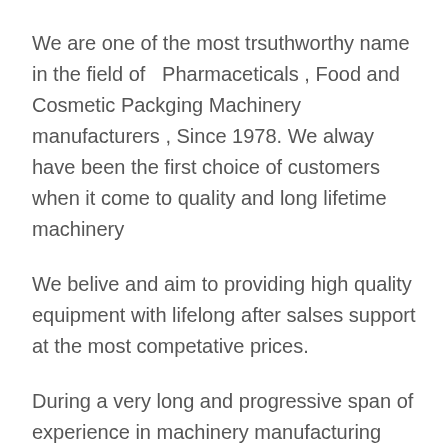We are one of the most trsuthworthy name in the field of   Pharmaceticals , Food and Cosmetic Packging Machinery manufacturers , Since 1978. We alway have been the first choice of customers when it come to quality and long lifetime machinery
We belive and aim to providing high quality equipment with lifelong after salses support at the most competative prices.
During a very long and progressive span of experience in machinery manufacturing field, we have adopted continuous improvement and innovation to satisfy customized customer's requirements.